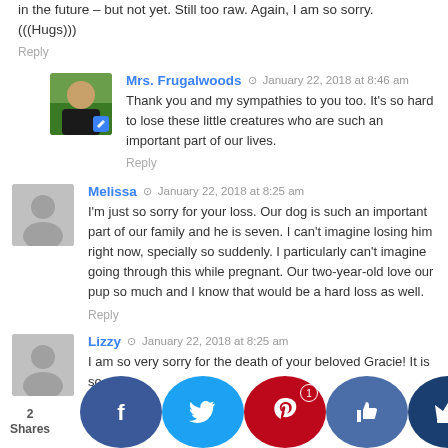in the future – but not yet. Still too raw. Again, I am so sorry. (((Hugs)))
Reply
Mrs. Frugalwoods  January 22, 2018 at 8:46 am
Thank you and my sympathies to you too. It's so hard to lose these little creatures who are such an important part of our lives.
Reply
Melissa  January 22, 2018 at 8:25 am
I'm just so sorry for your loss. Our dog is such an important part of our family and he is seven. I can't imagine losing him right now, specially so suddenly. I particularly can't imagine going through this while pregnant. Our two-year-old love our pup so much and I know that would be a hard loss as well.
Reply
Lizzy  January 22, 2018 at 8:25 am
I am so very sorry for the death of your beloved Gracie! It is so h... sorry...
Reply
2 Shares